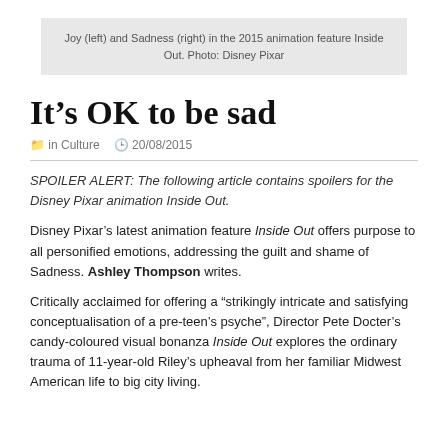Joy (left) and Sadness (right) in the 2015 animation feature Inside Out. Photo: Disney Pixar
It’s OK to be sad
in Culture   20/08/2015
SPOILER ALERT: The following article contains spoilers for the Disney Pixar animation Inside Out.
Disney Pixar’s latest animation feature Inside Out offers purpose to all personified emotions, addressing the guilt and shame of Sadness. Ashley Thompson writes.
Critically acclaimed for offering a “strikingly intricate and satisfying conceptualisation of a pre-teen’s psyche”, Director Pete Docter’s candy-coloured visual bonanza Inside Out explores the ordinary trauma of 11-year-old Riley’s upheaval from her familiar Midwest American life to big city living.